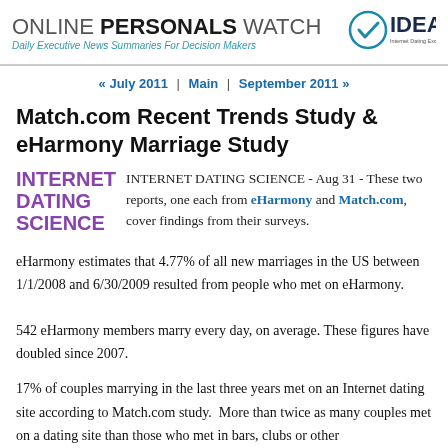ONLINE PERSONALS WATCH — Daily Executive News Summaries For Decision Makers | IDEA Internet Dating Excellence Association
« July 2011 | Main | September 2011 »
Match.com Recent Trends Study & eHarmony Marriage Study
INTERNET DATING SCIENCE - Aug 31 - These two reports, one each from eHarmony and Match.com, cover findings from their surveys.
eHarmony estimates that 4.77% of all new marriages in the US between 1/1/2008 and 6/30/2009 resulted from people who met on eHarmony. 542 eHarmony members marry every day, on average. These figures have doubled since 2007.
17% of couples marrying in the last three years met on an Internet dating site according to Match.com study.  More than twice as many couples met on a dating site than those who met in bars, clubs or other